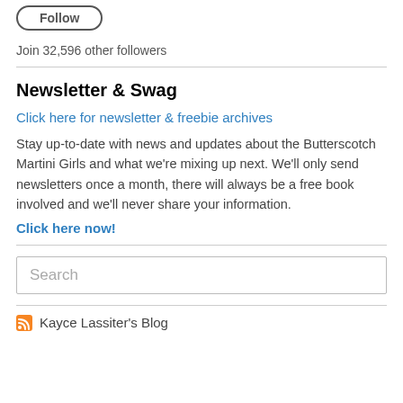[Figure (other): Partial view of a button (cropped at top of page)]
Join 32,596 other followers
Newsletter & Swag
Click here for newsletter & freebie archives
Stay up-to-date with news and updates about the Butterscotch Martini Girls and what we're mixing up next. We'll only send newsletters once a month, there will always be a free book involved and we'll never share your information.
Click here now!
[Figure (other): Search input box with placeholder text 'Search']
Kayce Lassiter's Blog